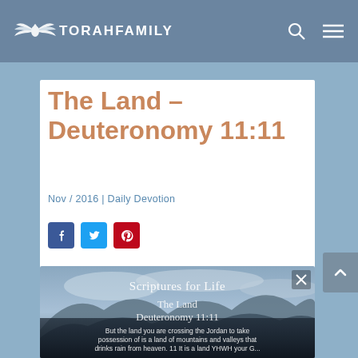TORAHFAMILY
The Land – Deuteronomy 11:11
Nov / 2016 | Daily Devotion
[Figure (screenshot): Scripture image showing mountain landscape with text: Scriptures for Life, The Land, Deuteronomy 11:11, But the land you are crossing the Jordan to take possession of is a land of mountains and valleys that drinks rain from heaven. 11 It is a land YHWH your G...]